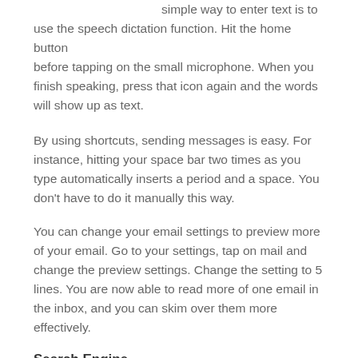simple way to enter text is to use the speech dictation function. Hit the home button before tapping on the small microphone. When you finish speaking, press that icon again and the words will show up as text.
By using shortcuts, sending messages is easy. For instance, hitting your space bar two times as you type automatically inserts a period and a space. You don't have to do it manually this way.
You can change your email settings to preview more of your email. Go to your settings, tap on mail and change the preview settings. Change the setting to 5 lines. You are now able to read more of one email in the inbox, and you can skim over them more effectively.
Search Engine
Do you not like having Google set as the default search engine? If so, there is a way for you to change